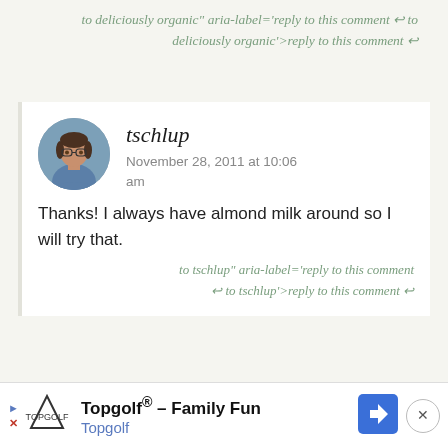to deliciously organic" aria-label='reply to this comment ↩ to deliciously organic'>reply to this comment ↩
tschlup
November 28, 2011 at 10:06 am
[Figure (photo): Circular avatar photo of a woman wearing glasses and a blue denim jacket, arms resting on a surface]
Thanks! I always have almond milk around so I will try that.
to tschlup" aria-label='reply to this comment ↩ to tschlup'>reply to this comment ↩
Topgolf® - Family Fun
Topgolf